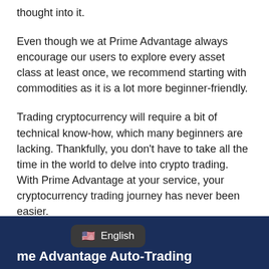thought into it.
Even though we at Prime Advantage always encourage our users to explore every asset class at least once, we recommend starting with commodities as it is a lot more beginner-friendly.
Trading cryptocurrency will require a bit of technical know-how, which many beginners are lacking. Thankfully, you don't have to take all the time in the world to delve into crypto trading. With Prime Advantage at your service, your cryptocurrency trading journey has never been easier.
Using our brilliant platform will automatically set you up for success.
me Advantage Auto-Trading